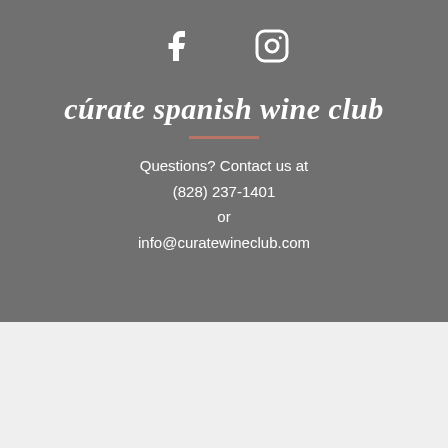[Figure (other): Social media icons: Facebook (f) and Instagram camera icon, white on gray background]
cúrate spanish wine club
Questions? Contact us at
(828) 237-1401
or
info@curatewineclub.com
$153.00
1
Add To Cart